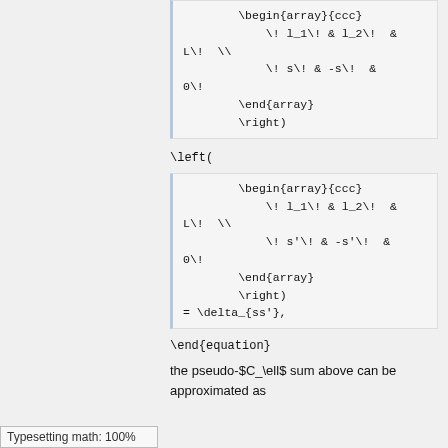\left(
\end{equation}
the pseudo-$C_\ell$ sum above can be approximated as